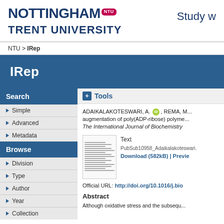NOTTINGHAM TRENT UNIVERSITY [NTU badge] Study w
NTU > IRep
IRep
Search
Simple
Advanced
Metadata
Browse
Division
Type
Author
Year
Collection
Tools
ADAIKALAKOTESWARI, A. [ORCID], REMA, M... augmentation of poly(ADP-ribose) polyme... The International Journal of Biochemistry
Text
PubSub10958_Adaikalakoteswari.
Download (582kB) | Previe
Official URL: http://doi.org/10.1016/j.bio
Abstract
Although oxidative stress and the subsequ... activation and nuclear factor-kappa B (NF